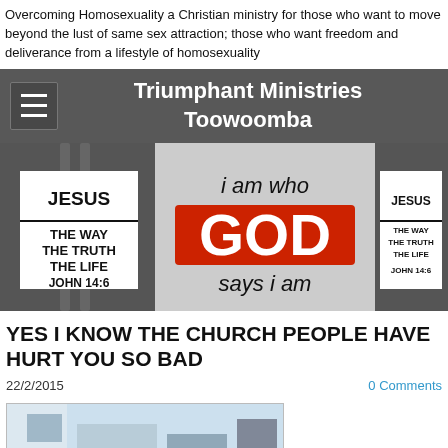Overcoming Homosexuality a Christian ministry for those who want to move beyond the lust of same sex attraction; those who want freedom and deliverance from a lifestyle of homosexuality
[Figure (screenshot): Dark grey navigation bar with hamburger menu icon on the left and site title 'Triumphant Ministries Toowoomba' centered in white text]
[Figure (photo): Banner image showing black and white chains background with signs reading 'JESUS THE WAY THE TRUTH THE LIFE JOHN 14:6' on left and right, and center colorful sign reading 'i am who GOD says i am']
YES I KNOW THE CHURCH PEOPLE HAVE HURT YOU SO BAD
22/2/2015
0 Comments
[Figure (photo): Partial photo visible at bottom of page, appears to show an indoor scene]